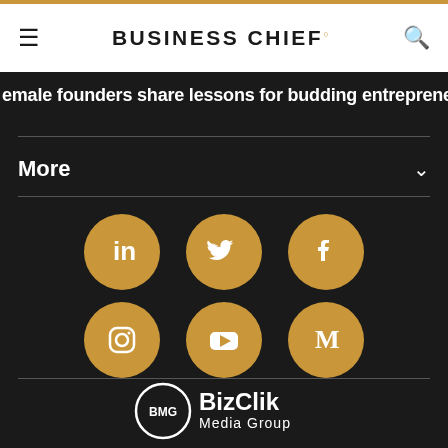BUSINESS CHIEF°
emale founders share lessons for budding entrepreneurs
More
[Figure (infographic): Six social media icons in gold circles arranged in two rows: LinkedIn, Twitter, Facebook (top row); Instagram, YouTube, Medium (bottom row)]
[Figure (logo): BizClik Media Group logo — BMG in a circle with BizClik Media Group text]